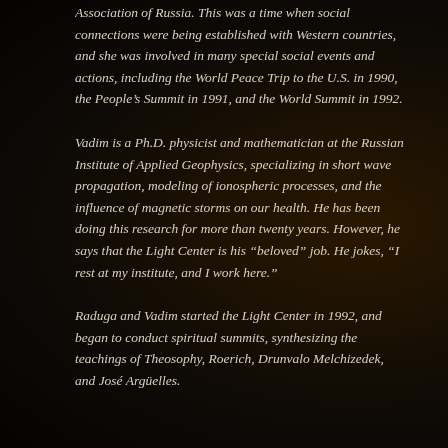Association of Russia. This was a time when social connections were being established with Western countries, and she was involved in many special social events and actions, including the World Peace Trip to the U.S. in 1990, the People's Summit in 1991, and the World Summit in 1992.
Vadim is a Ph.D. physicist and mathematician at the Russian Institute of Applied Geophysics, specializing in short wave propagation, modeling of ionospheric processes, and the influence of magnetic storms on our health. He has been doing this research for more than twenty years. However, he says that the Light Center is his “beloved” job. He jokes, “I rest at my institute, and I work here.”
Raduga and Vadim started the Light Center in 1992, and began to conduct spiritual summits, synthesizing the teachings of Theosophy, Roerich, Drunvalo Melchizedek, and José Argüelles.